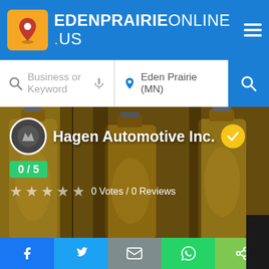EDENPRAIRIEONLINE.US
Business or Keyword | Eden Prairie (MN)
Hagen Automotive Inc.
0/5
0 Votes / 0 Reviews
Menu
Send Enquiry
We are different
Facebook | Twitter | Email | WhatsApp | Share